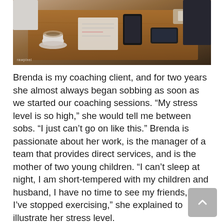[Figure (photo): Overhead view of people sitting at a wooden table with coffee cup, papers, notebooks, and smartphones during a meeting or coaching session. Rawpixel watermark visible.]
Brenda is my coaching client, and for two years she almost always began sobbing as soon as we started our coaching sessions. “My stress level is so high,” she would tell me between sobs. “I just can’t go on like this.” Brenda is passionate about her work, is the manager of a team that provides direct services, and is the mother of two young children. “I can’t sleep at night, I am short-tempered with my children and husband, I have no time to see my friends, and I’ve stopped exercising,” she explained to illustrate her stress level.